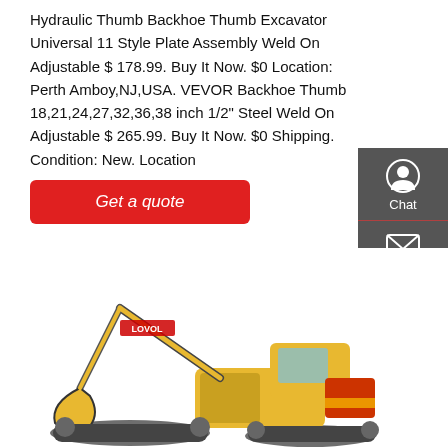Hydraulic Thumb Backhoe Thumb Excavator Universal 11 Style Plate Assembly Weld On Adjustable $ 178.99. Buy It Now. $0 Location: Perth Amboy,NJ,USA. VEVOR Backhoe Thumb 18,21,24,27,32,36,38 inch 1/2" Steel Weld On Adjustable $ 265.99. Buy It Now. $0 Shipping. Condition: New. Location
[Figure (other): Red 'Get a quote' button]
[Figure (other): Sidebar with Chat, Email, and Contact icons on dark grey background]
[Figure (photo): Yellow LOVOL brand large excavator/backhoe on white background, showing full machine with tracks, cab, and extended boom arm.]